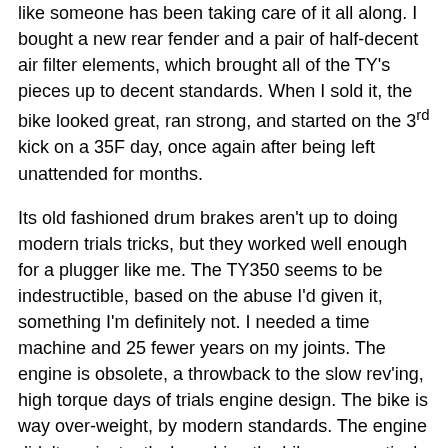like someone has been taking care of it all along. I bought a new rear fender and a pair of half-decent air filter elements, which brought all of the TY's pieces up to decent standards. When I sold it, the bike looked great, ran strong, and started on the 3rd kick on a 35F day, once again after being left unattended for months.
Its old fashioned drum brakes aren't up to doing modern trials tricks, but they worked well enough for a plugger like me. The TY350 seems to be indestructible, based on the abuse I'd given it, something I'm definitely not. I needed a time machine and 25 fewer years on my joints. The engine is obsolete, a throwback to the slow rev'ing, high torque days of trials engine design. The bike is way over-weight, by modern standards. The engine didn't rev instantly, launching the bike up a vertical incline like a wheeled cougar, but I could putt up my backyard pile of rocks with confidence. The brakes weren't 1-finger tight, but I could control the TY350 on a downhill slide into a creek bed.
The suspension is equally backwards. However, all of the parts worked together pretty well. I might never be able to